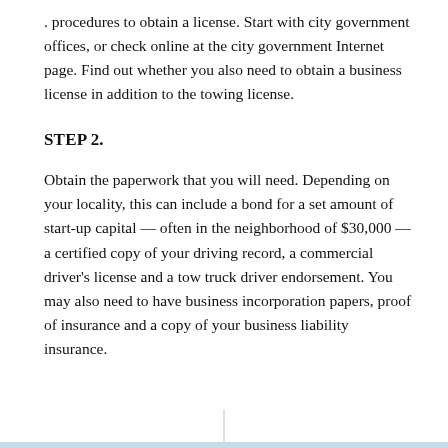. procedures to obtain a license. Start with city government offices, or check online at the city government Internet page. Find out whether you also need to obtain a business license in addition to the towing license.
STEP 2.
Obtain the paperwork that you will need. Depending on your locality, this can include a bond for a set amount of start-up capital — often in the neighborhood of $30,000 — a certified copy of your driving record, a commercial driver's license and a tow truck driver endorsement. You may also need to have business incorporation papers, proof of insurance and a copy of your business liability insurance.